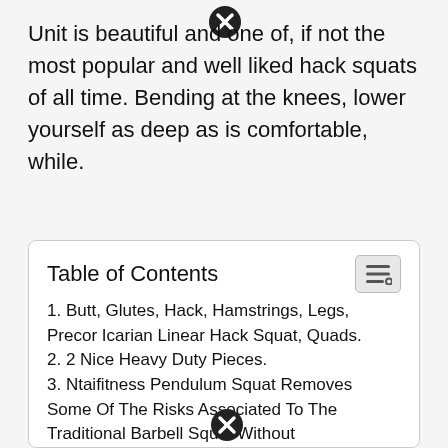Unit is beautiful and one of, if not the most popular and well liked hack squats of all time. Bending at the knees, lower yourself as deep as is comfortable, while.
Table of Contents
1. Butt, Glutes, Hack, Hamstrings, Legs, Precor Icarian Linear Hack Squat, Quads.
2. 2 Nice Heavy Duty Pieces.
3. Ntaifitness Pendulum Squat Removes Some Of The Risks Associated To The Traditional Barbell Squat Without Compromising The Squat Movement And Potential Strength Gains.
4. The Reverse Hack Squat Has Multiple Variations.
5. Most Experienced Bodybuilders Prefer Performing The Free Weights Version Of The Hack Squat As Opposed